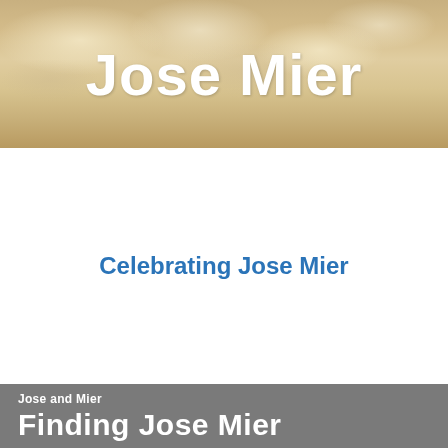Jose Mier
Celebrating Jose Mier
Jose and Mier
Finding Jose Mier